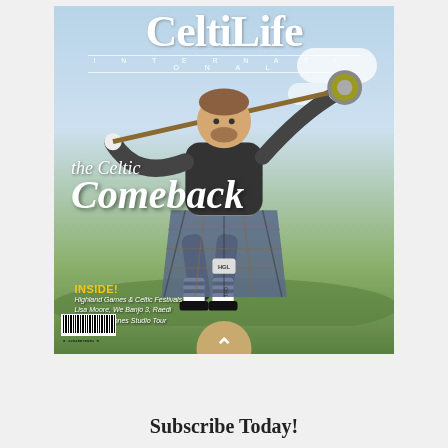[Figure (photo): Magazine cover of Celtic Life International showing a man in a kilt and black tank top swinging a hammer at Highland games, with clouds and green hills in the background. Text on cover reads 'the Celtic Comeback' and 'INSIDE! Highland Games & Celtic Festivals, Lisa Moore, We Banjo 3, Raedi, Game of Thrones Studio Tour'. A barcode is visible at bottom left and an up-arrow circular button overlaps the bottom edge.]
Subscribe Today!